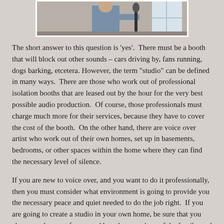[Figure (photo): Person holding a microphone, partially visible at top of page, with window in background]
The short answer to this question is ‘yes’.  There must be a booth that will block out other sounds – cars driving by, fans running, dogs barking, etcetera. However, the term “studio” can be defined in many ways.  There are those who work out of professional isolation booths that are leased out by the hour for the very best possible audio production.  Of course, those professionals must charge much more for their services, because they have to cover the cost of the booth.  On the other hand, there are voice over artist who work out of their own homes, set up in basements, bedrooms, or other spaces within the home where they can find the necessary level of silence.
If you are new to voice over, and you want to do it professionally, then you must consider what environment is going to provide you the necessary peace and quiet needed to do the job right.  If you are going to create a studio in your own home, be sure that you choose a place not frequented by other members of the family, and a place that will allow